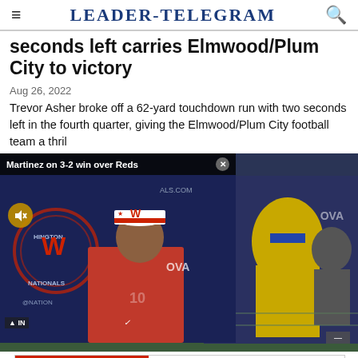LEADER-TELEGRAM
seconds left carries Elmwood/Plum City to victory
Aug 26, 2022
Trevor Asher broke off a 62-yard touchdown run with two seconds left in the fourth quarter, giving the Elmwood/Plum City football team a thril
[Figure (photo): Video overlay showing 'Martinez on 3-2 win over Reds' with Washington Nationals branding and a coach in red shirt, alongside a football game photo of a player in yellow/gold uniform]
[Figure (photo): Advertisement banner: NOW HIRING OWNERS! New hires immediately eligible to join our Employee Stock Ownership Plan (ESOP) - ARDISAM - GET MORE DETAILS]